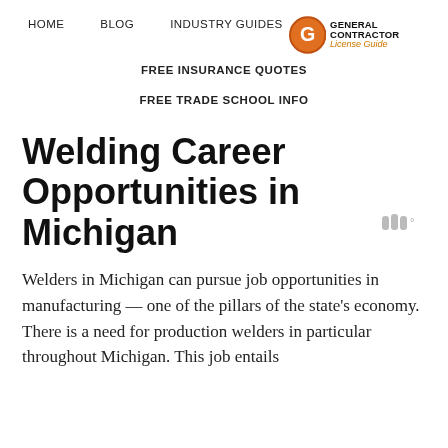HOME   BLOG   INDUSTRY GUIDES   GENERAL Contractor License Guide
FREE INSURANCE QUOTES
FREE TRADE SCHOOL INFO
[Figure (logo): General Contractor License Guide logo — orange circle with white G, text 'GENERAL Contractor License Guide']
[Figure (other): Weather/temperature icon with degree symbol]
Welding Career Opportunities in Michigan
Welders in Michigan can pursue job opportunities in manufacturing — one of the pillars of the state's economy. There is a need for production welders in particular throughout Michigan. This job entails